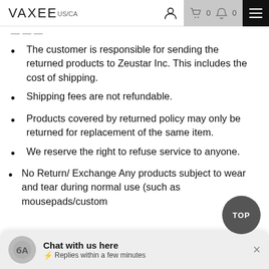VAXEE US/CA
The customer is responsible for sending the returned products to Zeustar Inc. This includes the cost of shipping.
Shipping fees are not refundable.
Products covered by returned policy may only be returned for replacement of the same item.
We reserve the right to refuse service to anyone.
No Return/ Exchange Any products subject to wear and tear during normal use (such as mousepads/custom
Chat with us here
⚡ Replies within a few minutes